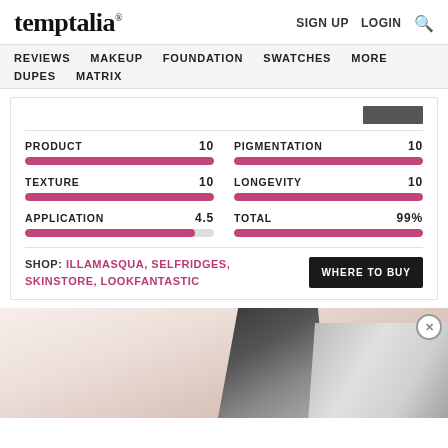temptalia® | SIGN UP | LOGIN
REVIEWS | MAKEUP | FOUNDATION | SWATCHES | MORE | DUPES | MATRIX
PRODUCT 10
TEXTURE 10
APPLICATION 4.5
PIGMENTATION 10
LONGEVITY 10
TOTAL 99%
SHOP: ILLAMASQUA, SELFRIDGES, SKINSTORE, LOOKFANTASTIC
[Figure (photo): Product image showing dark and silver-colored cosmetic products against a pinkish background with a close button.]